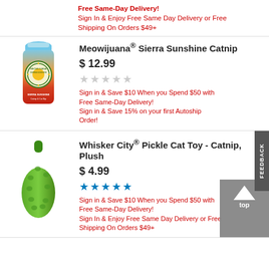Free Same-Day Delivery! Sign In & Enjoy Free Same Day Delivery or Free Shipping On Orders $49+
Meowijuana® Sierra Sunshine Catnip
$ 12.99
★★★★★ (empty stars)
Sign in & Save $10 When you Spend $50 with Free Same-Day Delivery! Sign in & Save 15% on your first Autoship Order!
[Figure (photo): Meowijuana Sierra Sunshine Catnip product bottle with colorful label]
Whisker City® Pickle Cat Toy - Catnip, Plush
$ 4.99
★★★★★ (filled blue stars)
Sign in & Save $10 When you Spend $50 with Free Same-Day Delivery! Sign In & Enjoy Free Same Day Delivery or Free Shipping On Orders $49+
[Figure (photo): Whisker City Pickle Cat Toy - green plush pickle-shaped cat toy]